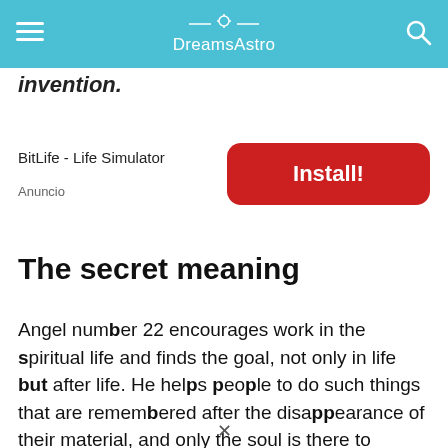DreamsAstro
invention.
[Figure (screenshot): Advertisement banner for BitLife - Life Simulator with a red Install! button]
The secret meaning
Angel number 22 encourages work in the spiritual life and finds the goal, not only in life but after life. He helps people to do such things that are remembered after the disappearance of their material, and only the soul is there to spread the word.